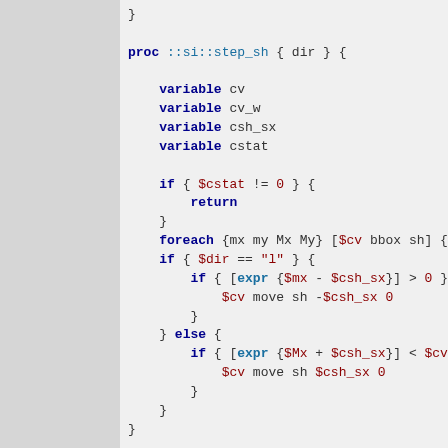code snippet showing ::si::step_sh and ::si::step_att Tcl procedures